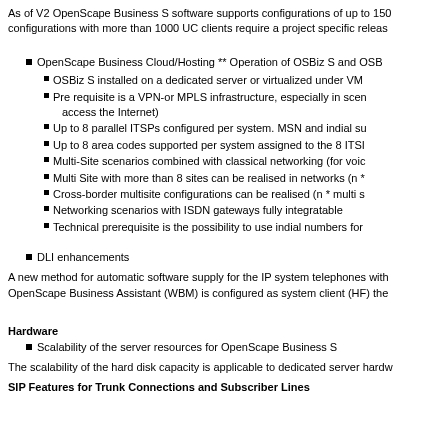As of V2 OpenScape Business S software supports configurations of up to 150 configurations with more than 1000 UC clients require a project specific release
OpenScape Business Cloud/Hosting ** Operation of OSBiz S and OSB
OSBiz S installed on a dedicated server or virtualized under VM
Pre requisite is a VPN-or MPLS infrastructure, especially in scen access the Internet)
Up to 8 parallel ITSPs configured per system. MSN and indial su
Up to 8 area codes supported per system assigned to the 8 ITSI
Multi-Site scenarios combined with classical networking (for voic
Multi Site with more than 8 sites can be realised in networks (n *
Cross-border multisite configurations can be realised (n * multi s
Networking scenarios with ISDN gateways fully integratable
Technical prerequisite is the possibility to use indial numbers for
DLI enhancements
A new method for automatic software supply for the IP system telephones with OpenScape Business Assistant (WBM) is configured as system client (HF) the
Hardware
Scalability of the server resources for OpenScape Business S
The scalability of the hard disk capacity is applicable to dedicated server hardw
SIP Features for Trunk Connections and Subscriber Lines